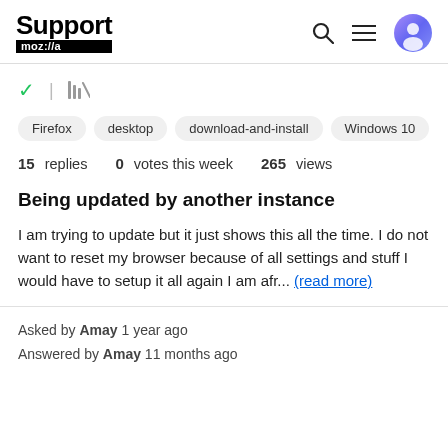Support moz://a
Firefox   desktop   download-and-install   Windows 10
15 replies   0 votes this week   265 views
Being updated by another instance
I am trying to update but it just shows this all the time. I do not want to reset my browser because of all settings and stuff I would have to setup it all again I am afr... (read more)
Asked by Amay 1 year ago
Answered by Amay 11 months ago